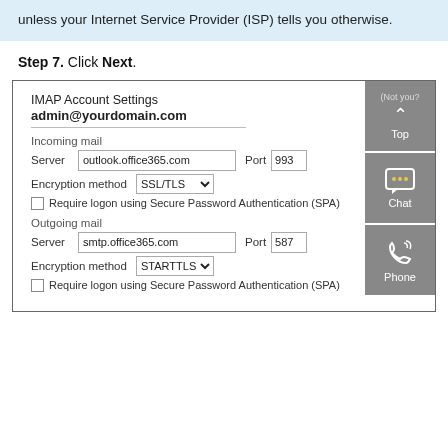unless your Internet Service Provider (ISP) tells you otherwise.
Step 7. Click Next.
[Figure (screenshot): IMAP Account Settings dialog box showing incoming mail server outlook.office365.com port 993 with SSL/TLS encryption and outgoing mail server smtp.office365.com port 587 with STARTTLS encryption. Right side has Top, Chat, and Phone support buttons.]